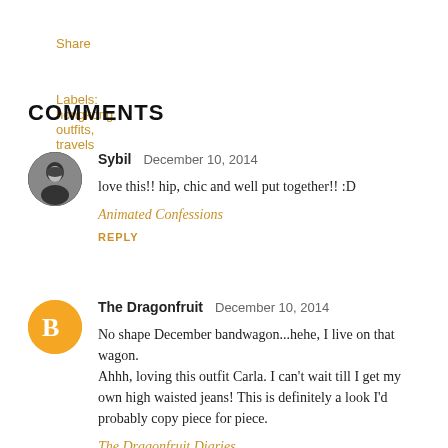Share
Labels: hongkong, outfits, travels
COMMENTS
Sybil  December 10, 2014
love this!! hip, chic and well put together!! :D
Animated Confessions
REPLY
The Dragonfruit  December 10, 2014
No shape December bandwagon...hehe, I live on that wagon.
Ahhh, loving this outfit Carla. I can't wait till I get my own high waisted jeans! This is definitely a look I'd probably copy piece for piece.
The Dragonfruit Diaries